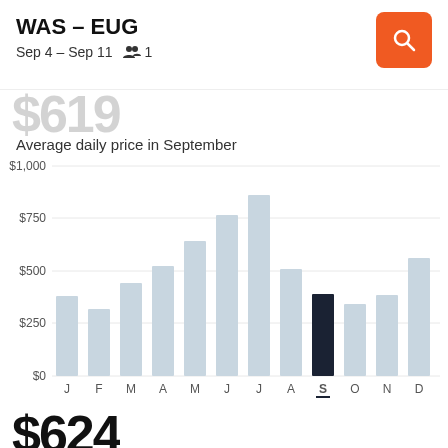WAS – EUG
Sep 4 – Sep 11  👥 1
Average daily price in September
[Figure (bar-chart): Average daily price in September]